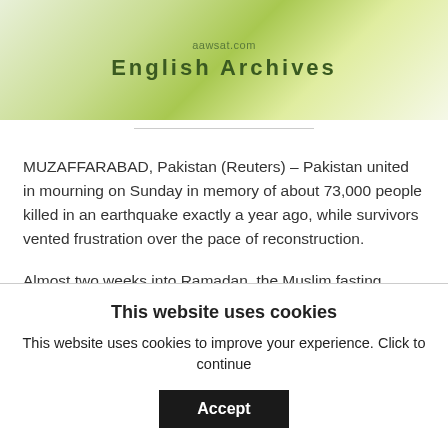aawsat.com English Archives
MUZAFFARABAD, Pakistan (Reuters) – Pakistan united in mourning on Sunday in memory of about 73,000 people killed in an earthquake exactly a year ago, while survivors vented frustration over the pace of reconstruction.
Almost two weeks into Ramadan, the Muslim fasting month, Pakistan's mosques have been even more crowded than usual.
This website uses cookies
This website uses cookies to improve your experience. Click to continue
Accept